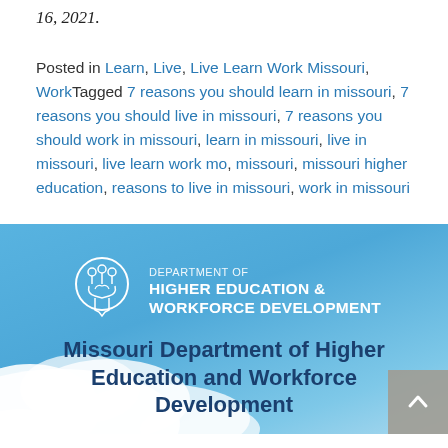16, 2021.
Posted in Learn, Live, Live Learn Work Missouri, WorkTagged 7 reasons you should learn in missouri, 7 reasons you should live in missouri, 7 reasons you should work in missouri, learn in missouri, live in missouri, live learn work mo, missouri, missouri higher education, reasons to live in missouri, work in missouri
[Figure (logo): Missouri Department of Higher Education & Workforce Development logo with state seal icon and white text on blue background]
Missouri Department of Higher Education and Workforce Development